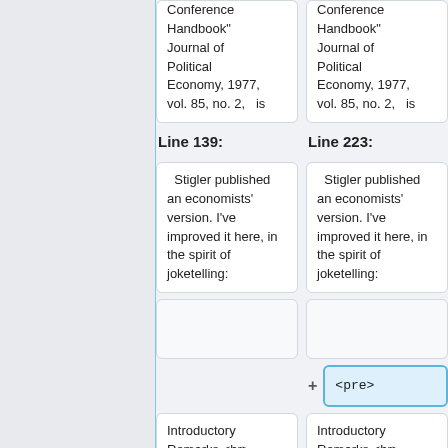Conference Handbook" Journal of Political Economy, 1977, vol. 85, no. 2, is
Conference Handbook" Journal of Political Economy, 1977, vol. 85, no. 2, is
Line 139:
Line 223:
Stigler published an economists' version. I've improved it here, in the spirit of joketelling:
Stigler published an economists' version. I've improved it here, in the spirit of joketelling:
<pre>
Introductory Remarks <br>
Introductory Remarks <br>